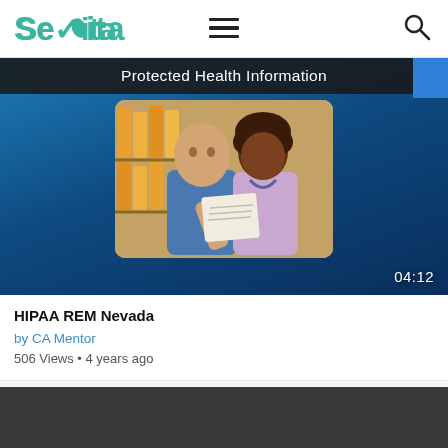Sevita
[Figure (screenshot): Video thumbnail showing two healthcare workers (a bald man in blue scrubs and a woman with curly hair in lavender scrubs) reviewing documents in a medical setting. Title bar reads 'Protected Health Information'. Duration shown as 04:12.]
HIPAA REM Nevada
by CA Mentor
506 Views • 4 years ago